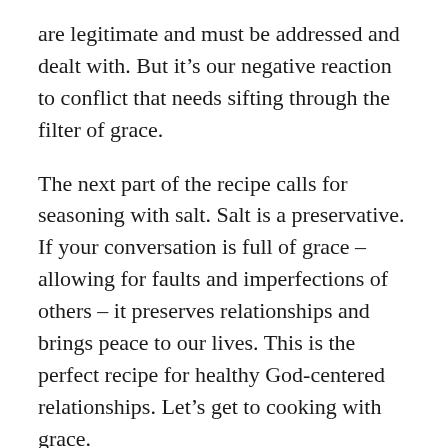are legitimate and must be addressed and dealt with. But it's our negative reaction to conflict that needs sifting through the filter of grace.
The next part of the recipe calls for seasoning with salt. Salt is a preservative. If your conversation is full of grace – allowing for faults and imperfections of others – it preserves relationships and brings peace to our lives. This is the perfect recipe for healthy God-centered relationships. Let's get to cooking with grace.
“But above all these things put on love, which is the bond of perfection.” Colossians 3:14